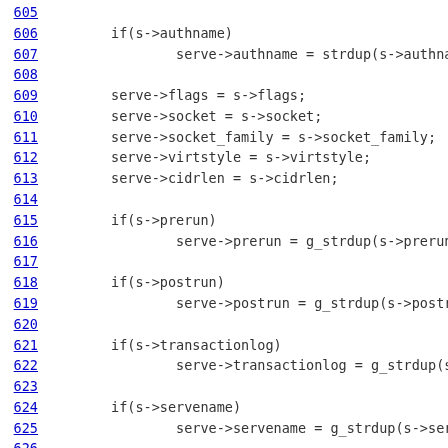605
606   if(s->authname)
607         serve->authname = strdup(s->authname);
608
609   serve->flags = s->flags;
610   serve->socket = s->socket;
611   serve->socket_family = s->socket_family;
612   serve->virtstyle = s->virtstyle;
613   serve->cidrlen = s->cidrlen;
614
615   if(s->prerun)
616         serve->prerun = g_strdup(s->prerun);
617
618   if(s->postrun)
619         serve->postrun = g_strdup(s->postrun);
620
621   if(s->transactionlog)
622         serve->transactionlog = g_strdup(s->transactionlog);
623
624   if(s->servename)
625         serve->servename = g_strdup(s->servename);
626
627   serve->max_connections = s->max_connections;
628
629   return serve;
630 }